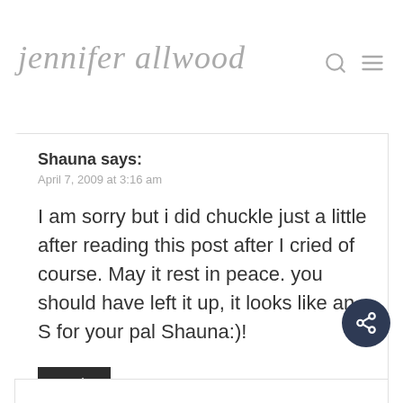jennifer allwood
Shauna says:
April 7, 2009 at 3:16 am
I am sorry but i did chuckle just a little after reading this post after I cried of course. May it rest in peace. you should have left it up, it looks like an S for your pal Shauna:)!
Reply